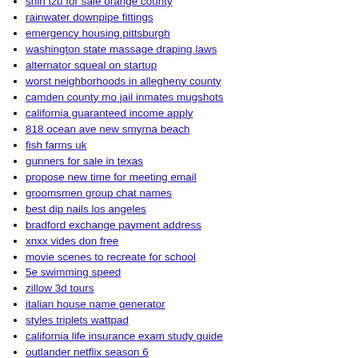shih tzu for sale orange county
rainwater downpipe fittings
emergency housing pittsburgh
washington state massage draping laws
alternator squeal on startup
worst neighborhoods in allegheny county
camden county mo jail inmates mugshots
california guaranteed income apply
818 ocean ave new smyrna beach
fish farms uk
gunners for sale in texas
propose new time for meeting email
groomsmen group chat names
best dip nails los angeles
bradford exchange payment address
xnxx vides don free
movie scenes to recreate for school
5e swimming speed
zillow 3d tours
italian house name generator
styles triplets wattpad
california life insurance exam study guide
outlander netflix season 6
kanta indian girl picture
leelanau county jobs
watching female tony stark fanfiction